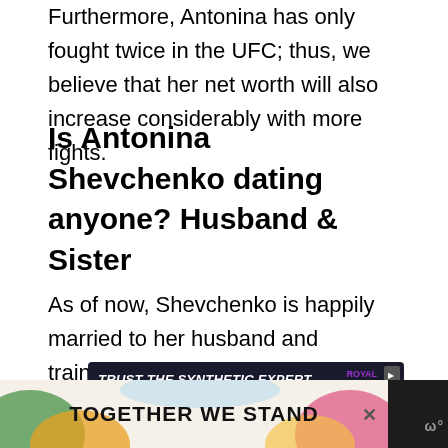Furthermore, Antonina has only fought twice in the UFC; thus, we believe that her net worth will also increase considerably with more fights.
Is Antonina Shevchenko dating anyone? Husband & Sister
As of now, Shevchenko is happily married to her husband and trainer, Pavel Fedotov. Furthermore, the two lovebirds met during a training session and have been together ever since.
[Figure (screenshot): Advertisement banner: TRUST THE SYNTHETIC EXPERT with ROYAL PURPLE branding and LEARN MORE button]
[Figure (screenshot): Bottom advertisement bar with colorful background reading TOGETHER WE STAND with a close button and Wattpad logo]